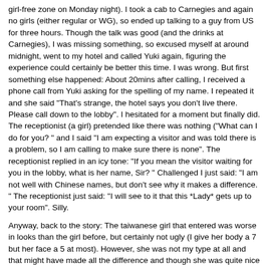girl-free zone on Monday night). I took a cab to Carnegies and again no girls (either regular or WG), so ended up talking to a guy from US for three hours. Though the talk was good (and the drinks at Carnegies), I was missing something, so excused myself at around midnight, went to my hotel and called Yuki again, figuring the experience could certainly be better this time. I was wrong. But first something else happened: About 20mins after calling, I received a phone call from Yuki asking for the spelling of my name. I repeated it and she said "That's strange, the hotel says you don't live there. Please call down to the lobby". I hesitated for a moment but finally did. The receptionist (a girl) pretended like there was nothing ("What can I do for you? " and I said "I am expecting a visitor and was told there is a problem, so I am calling to make sure there is none". The receptionist replied in an icy tone: "If you mean the visitor waiting for you in the lobby, what is her name, Sir? " Challenged I just said: "I am not well with Chinese names, but don't see why it makes a difference. " The receptionist just said: "I will see to it that this *Lady* gets up to your room". Silly.
Anyway, back to the story: The taiwanese girl that entered was worse in looks than the girl before, but certainly not ugly (I give her body a 7 but her face a 5 at most). However, she was not my type at all and that might have made all the difference and though she was quite nice in her attitude, she kept to the usual script (shower, undress, lay down, BJ, fuck) and faked her moaning. Though I wasn't turned on by either that nor her average looks, I could with a little fantasy still come and she behaved like a good friend afterwards (asking if I had a girlfriend, asking if she could see me again.), in no hurry again. But the oveall experience was underwhelming and left me disappointed. Do not even remember the name.
3rd night:
But finally it turned out to be good as I decided to give Yuki a third. An in case of disappointment final. Chance. I called earlier this time and at about 9pm a rather sweet taiwanese girl that called herself "ThingThing" or similar walked in. Though she looked like she had spend to much time in the sun and her teeth were way of, she was kinda cute. Most importantly though she kissed me when she entered, asked if it was OK, called the agency quickly and then switched to the best GF one can have. Hungry, deep kisses, soft touches everywhere we quickly ended up on the bed. I kissed her everywhere and she made all the